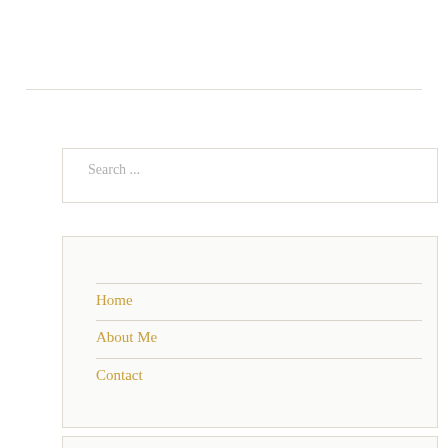Search ...
Home
About Me
Contact